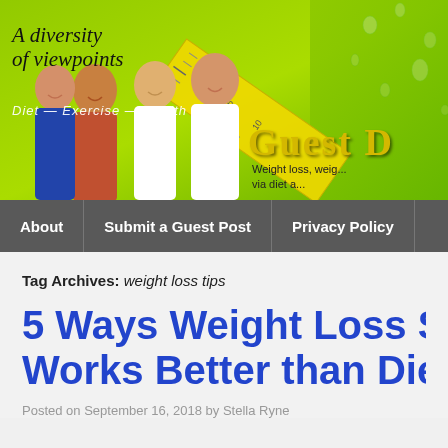[Figure (photo): Website banner with green background, tape measure, group of smiling people (3 women and 1 man), italic tagline 'A diversity of viewpoints', subtitle 'Diet — Exercise — Health', and partial logo text 'Guest D...' with 'Weight loss, weig... via diet a...']
About | Submit a Guest Post | Privacy Policy
Tag Archives: weight loss tips
5 Ways Weight Loss S... Works Better than Die...
Posted on September 16, 2018 by Stella Ryne